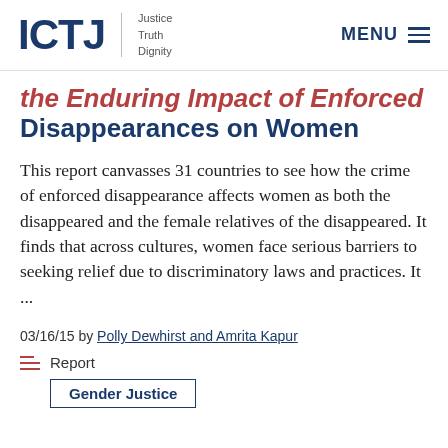ICTJ | Justice Truth Dignity  —  MENU
the Enduring Impact of Enforced Disappearances on Women
This report canvasses 31 countries to see how the crime of enforced disappearance affects women as both the disappeared and the female relatives of the disappeared. It finds that across cultures, women face serious barriers to seeking relief due to discriminatory laws and practices. It ...
03/16/15 by Polly Dewhirst and Amrita Kapur
Report
Gender Justice